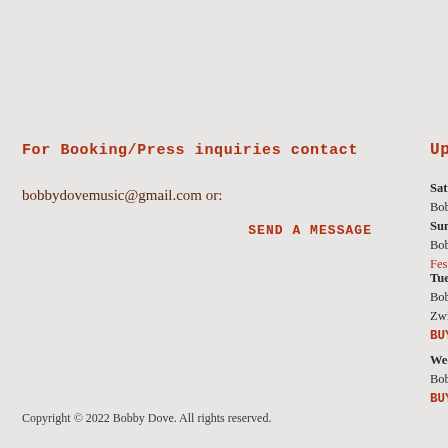For Booking/Press inquiries contact
bobbydovemusic@gmail.com or:
SEND A MESSAGE
Upcoming shows
Saturday, 20 Aug 2... Bobby Dove in Kelv...
Sunday, 28 Aug 20... Bobby Dove in Port... Festival
Tuesday, 29 Nov 2... Bobby Dove in Berg... Zwijnshoofd – BUY TICKETS
Wednesday, 30 No... Bobby Dove in Ben... BUY TICKETS
Copyright © 2022 Bobby Dove. All rights reserved.